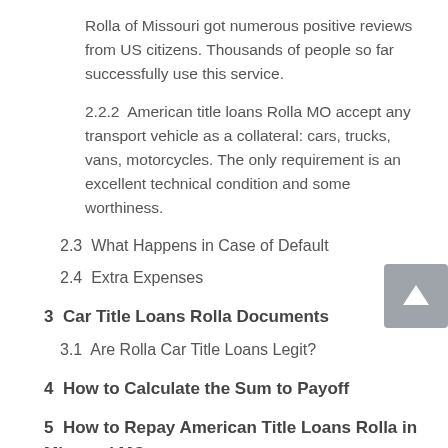Rolla of Missouri got numerous positive reviews from US citizens. Thousands of people so far successfully use this service.
2.2.2  American title loans Rolla MO accept any transport vehicle as a collateral: cars, trucks, vans, motorcycles. The only requirement is an excellent technical condition and some worthiness.
2.3  What Happens in Case of Default
2.4  Extra Expenses
3  Car Title Loans Rolla Documents
3.1  Are Rolla Car Title Loans Legit?
4  How to Calculate the Sum to Payoff
5  How to Repay American Title Loans Rolla in Missouri MO